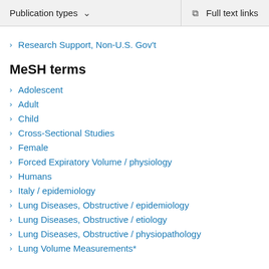Publication types  ∨    Full text links
Research Support, Non-U.S. Gov't
MeSH terms
Adolescent
Adult
Child
Cross-Sectional Studies
Female
Forced Expiratory Volume / physiology
Humans
Italy / epidemiology
Lung Diseases, Obstructive / epidemiology
Lung Diseases, Obstructive / etiology
Lung Diseases, Obstructive / physiopathology
Lung Volume Measurements*